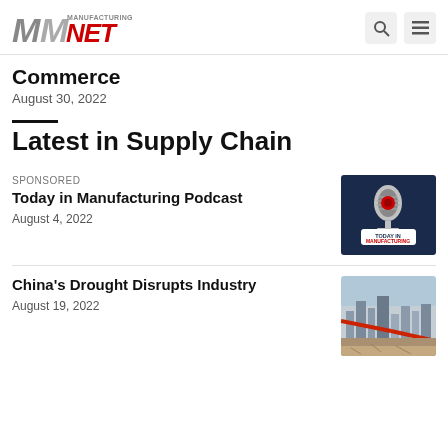Manufacturing.net
Commerce
August 30, 2022
Latest in Supply Chain
SPONSORED
Today in Manufacturing Podcast
August 4, 2022
[Figure (photo): Today in Manufacturing Podcast logo with microphone on dark blue background]
China's Drought Disrupts Industry
August 19, 2022
[Figure (photo): City skyline with bridge and drought conditions, Chongqing China]